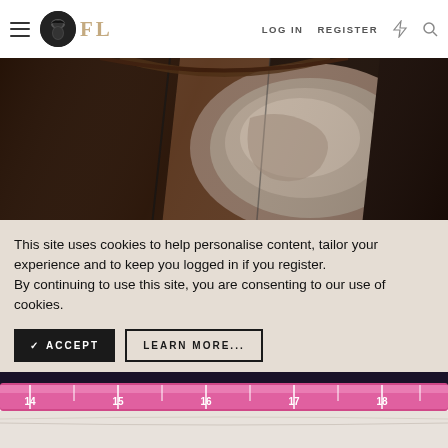FL — LOG IN  REGISTER
[Figure (photo): Close-up photo of brown leather jacket interior showing lining and seams]
This site uses cookies to help personalise content, tailor your experience and to keep you logged in if you register.
By continuing to use this site, you are consenting to our use of cookies.
✓ ACCEPT
LEARN MORE...
[Figure (photo): Photo of a measuring tape showing markings around 14 to 18 inches, with fabric below]